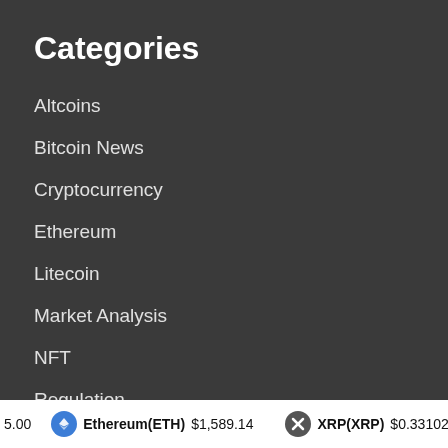Categories
Altcoins
Bitcoin News
Cryptocurrency
Ethereum
Litecoin
Market Analysis
NFT
Regulation
5.00  Ethereum(ETH)  $1,589.14  XRP(XRP)  $0.331023